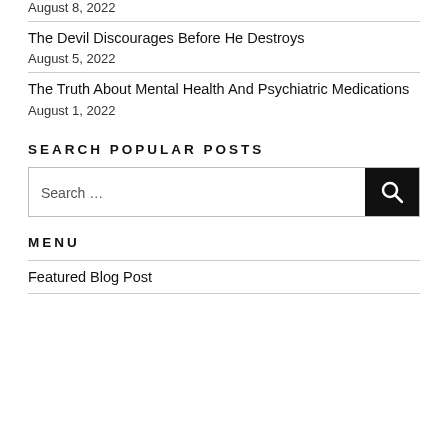August 8, 2022
The Devil Discourages Before He Destroys
August 5, 2022
The Truth About Mental Health And Psychiatric Medications
August 1, 2022
SEARCH POPULAR POSTS
Search …
MENU
Featured Blog Post